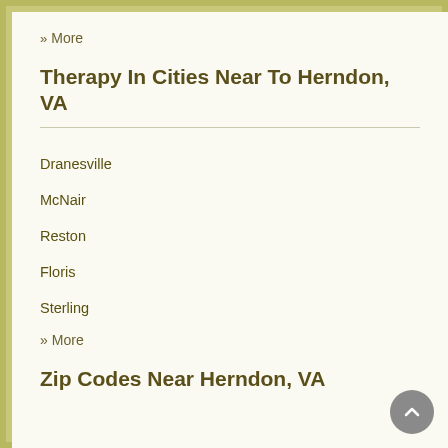» More
Therapy In Cities Near To Herndon, VA
Dranesville
McNair
Reston
Floris
Sterling
» More
Zip Codes Near Herndon, VA